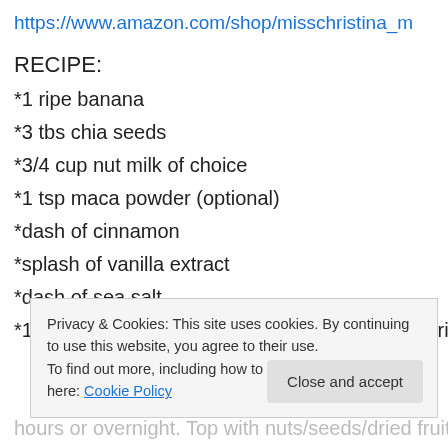https://www.amazon.com/shop/misschristina_m
RECIPE:
*1 ripe banana
*3 tbs chia seeds
*3/4 cup nut milk of choice
*1 tsp maca powder (optional)
*dash of cinnamon
*splash of vanilla extract
*dash of sea salt
*1 tbs cacao powder (if you want a chocolate variation!)
Privacy & Cookies: This site uses cookies. By continuing to use this website, you agree to their use. To find out more, including how to control cookies, see here: Cookie Policy
hours or overnight. Top with nuts/seeds/dried fruit or